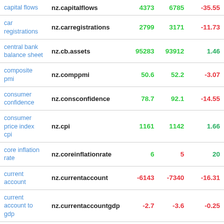|  |  | Latest | Previous | % Change |
| --- | --- | --- | --- | --- |
| capital flows | nz.capitalflows | 4373 | 6785 | -35.55 |
| car registrations | nz.carregistrations | 2799 | 3171 | -11.73 |
| central bank balance sheet | nz.cb.assets | 95283 | 93912 | 1.46 |
| composite pmi | nz.comppmi | 50.6 | 52.2 | -3.07 |
| consumer confidence | nz.consconfidence | 78.7 | 92.1 | -14.55 |
| consumer price index cpi | nz.cpi | 1161 | 1142 | 1.66 |
| core inflation rate | nz.coreinflationrate | 6 | 5 | 20 |
| current account | nz.currentaccount | -6143 | -7340 | -16.31 |
| current account to gdp | nz.currentaccountgdp | -2.7 | -3.6 | -0.25 |
| deposit interest rate | nz.depositrate | 0.27 | 0.49 | -0.44898 |